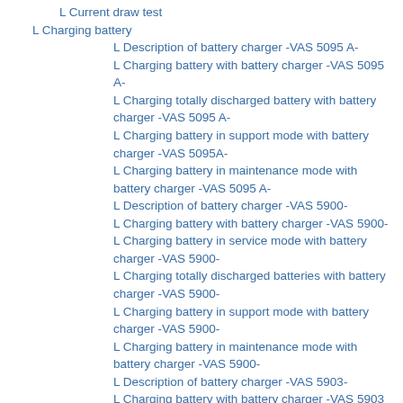L Current draw test
L Charging battery
L Description of battery charger -VAS 5095 A-
L Charging battery with battery charger -VAS 5095 A-
L Charging totally discharged battery with battery charger -VAS 5095 A-
L Charging battery in support mode with battery charger -VAS 5095A-
L Charging battery in maintenance mode with battery charger -VAS 5095 A-
L Description of battery charger -VAS 5900-
L Charging battery with battery charger -VAS 5900-
L Charging battery in service mode with battery charger -VAS 5900-
L Charging totally discharged batteries with battery charger -VAS 5900-
L Charging battery in support mode with battery charger -VAS 5900-
L Charging battery in maintenance mode with battery charger -VAS 5900-
L Description of battery charger -VAS 5903-
L Charging battery with battery charger -VAS 5903
L Charging battery in refresh charge mode with battery charger -VAS 5903-